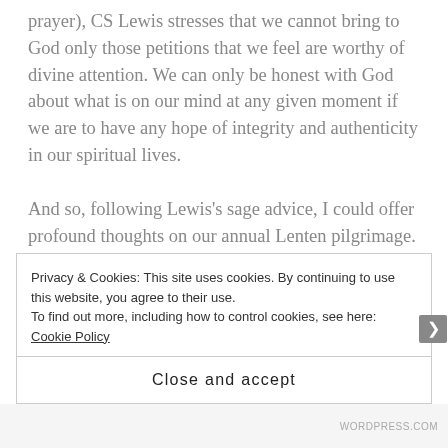prayer), CS Lewis stresses that we cannot bring to God only those petitions that we feel are worthy of divine attention. We can only be honest with God about what is on our mind at any given moment if we are to have any hope of integrity and authenticity in our spiritual lives.

And so, following Lewis's sage advice, I could offer profound thoughts on our annual Lenten pilgrimage. I could talk about what a great experience it was to offer Ashes-t0-Go for the first time in my new campus community, and the vital importance of the church to in going out of our buildings to engage with the very
Privacy & Cookies: This site uses cookies. By continuing to use this website, you agree to their use.
To find out more, including how to control cookies, see here: Cookie Policy
Close and accept